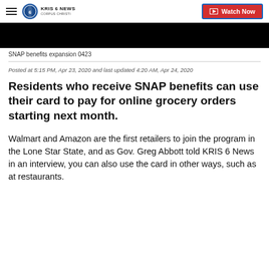KRIS 6 NEWS CORPUS CHRISTI | Watch Now
[Figure (screenshot): Black video thumbnail for SNAP benefits expansion 0423]
SNAP benefits expansion 0423
Posted at 5:15 PM, Apr 23, 2020 and last updated 4:20 AM, Apr 24, 2020
Residents who receive SNAP benefits can use their card to pay for online grocery orders starting next month.
Walmart and Amazon are the first retailers to join the program in the Lone Star State, and as Gov. Greg Abbott told KRIS 6 News in an interview, you can also use the card in other ways, such as at restaurants.